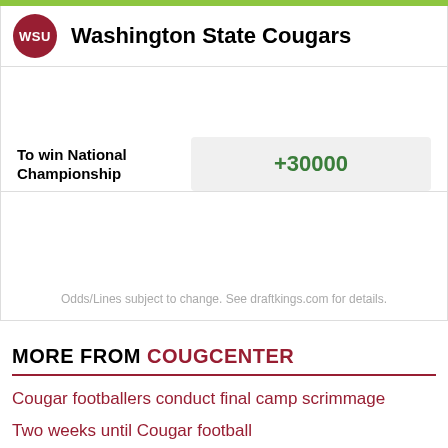[Figure (logo): WSU Washington State Cougars team logo and header with green top bar]
|  |  |
| --- | --- |
| To win National Championship | +30000 |
Odds/Lines subject to change. See draftkings.com for details.
MORE FROM COUGCENTER
Cougar footballers conduct final camp scrimmage
Two weeks until Cougar football
A bittersweet opener for WSU soccer in 2-1 loss to Michigan